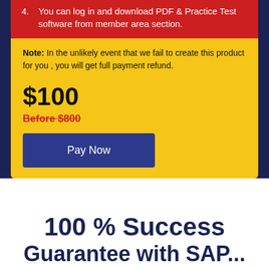4. You can log in and download PDF & Practice Test software from member area section.
Note: In the unlikely event that we fail to create this product for you , you will get full payment refund.
$100
Before $800
Pay Now
100 % Success